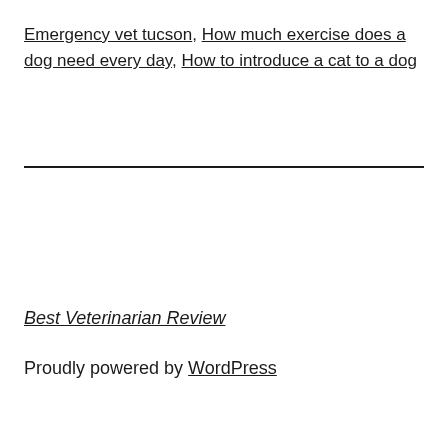Emergency vet tucson, How much exercise does a dog need every day, How to introduce a cat to a dog
Best Veterinarian Review
Proudly powered by WordPress